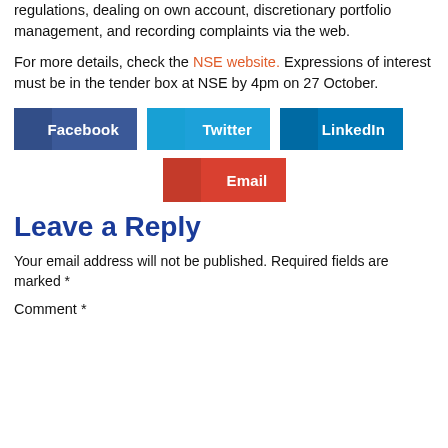regulations, dealing on own account, discretionary portfolio management, and recording complaints via the web.
For more details, check the NSE website. Expressions of interest must be in the tender box at NSE by 4pm on 27 October.
[Figure (infographic): Social share buttons: Facebook (dark blue), Twitter (light blue), LinkedIn (blue), Email (red)]
Leave a Reply
Your email address will not be published. Required fields are marked *
Comment *